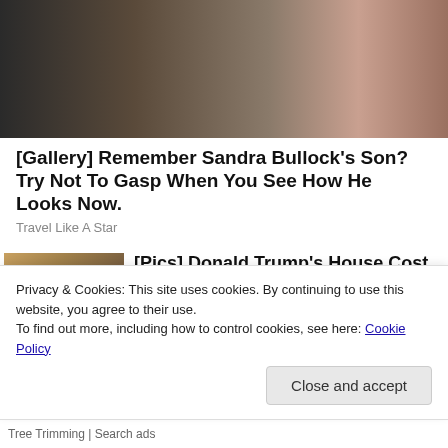[Figure (photo): Close-up photo of a young Black child and a woman with dark hair (Sandra Bullock and her son)]
[Gallery] Remember Sandra Bullock's Son? Try Not To Gasp When You See How He Looks Now.
Travel Like A Star
[Figure (photo): Thumbnail photo of Donald Trump and a woman]
[Pics] Donald Trump's House Cost $160M & This Is What It Looks Like Inside
Privacy & Cookies: This site uses cookies. By continuing to use this website, you agree to their use.
To find out more, including how to control cookies, see here: Cookie Policy
Close and accept
Tree Trimming | Search ads